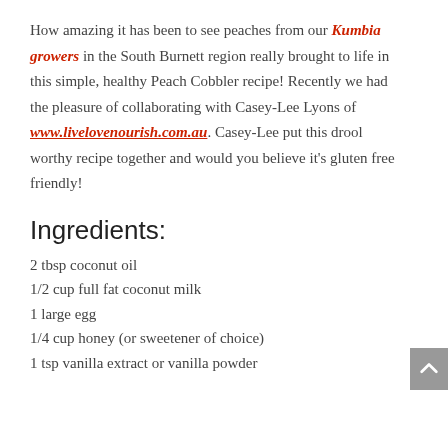How amazing it has been to see peaches from our Kumbia growers in the South Burnett region really brought to life in this simple, healthy Peach Cobbler recipe! Recently we had the pleasure of collaborating with Casey-Lee Lyons of www.livelovenourish.com.au. Casey-Lee put this drool worthy recipe together and would you believe it's gluten free friendly!
Ingredients:
2 tbsp coconut oil
1/2 cup full fat coconut milk
1 large egg
1/4 cup honey (or sweetener of choice)
1 tsp vanilla extract or vanilla powder